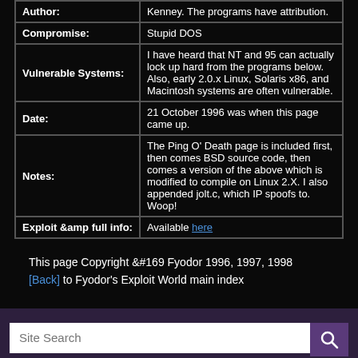| Field | Value |
| --- | --- |
| Author: | Kenney. The programs have attribution. |
| Compromise: | Stupid DOS |
| Vulnerable Systems: | I have heard that NT and 95 can actually lock up hard from the programs below. Also, early 2.0.x Linux, Solaris x86, and Macintosh systems are often vulnerable. |
| Date: | 21 October 1996 was when this page came up. |
| Notes: | The Ping O' Death page is included first, then comes BSD source code, then comes a version of the above which is modified to compile on Linux 2.X. I also appended jolt.c, which IP spoofs to. Woop! |
| Exploit &amp full info: | Available here |
This page Copyright &#169 Fyodor 1996, 1997, 1998
[Back] to Fyodor's Exploit World main index
Site Search